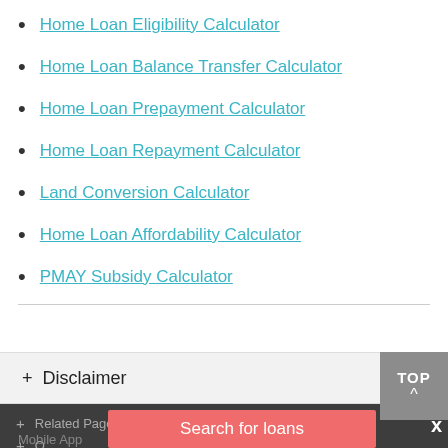Home Loan Eligibility Calculator
Home Loan Balance Transfer Calculator
Home Loan Prepayment Calculator
Home Loan Repayment Calculator
Land Conversion Calculator
Home Loan Affordability Calculator
PMAY Subsidy Calculator
+ Disclaimer
+ Related Pages
+ O...
Search for loans
X
Mobile App